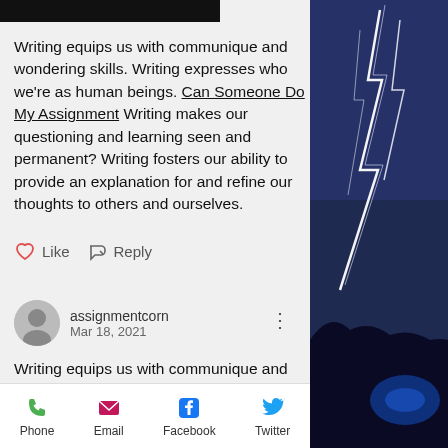Writing equips us with communique and wondering skills. Writing expresses who we're as human beings. Can Someone Do My Assignment Writing makes our questioning and learning seen and permanent? Writing fosters our ability to provide an explanation for and refine our thoughts to others and ourselves.
Like   Reply
assignmentcorn
Mar 18, 2021
Writing equips us with communique and wondering skills. Writing expresses who we're as human beings. Can Someone Do My Assignment Writing makes our questioning and learning seen and
Phone   Email   Facebook   Twitter